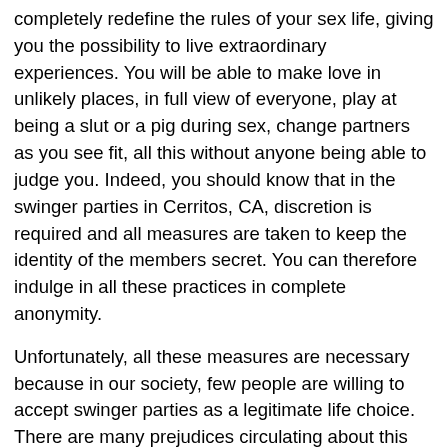completely redefine the rules of your sex life, giving you the possibility to live extraordinary experiences. You will be able to make love in unlikely places, in full view of everyone, play at being a slut or a pig during sex, change partners as you see fit, all this without anyone being able to judge you. Indeed, you should know that in the swinger parties in Cerritos, CA, discretion is required and all measures are taken to keep the identity of the members secret. You can therefore indulge in all these practices in complete anonymity.
Unfortunately, all these measures are necessary because in our society, few people are willing to accept swinger parties as a legitimate life choice. There are many prejudices circulating about this practice, misconceptions that, by dint of being repeated, end up convincing more and more people. This is why the followers of swinger parties feel, for the most part, forced to hide in order to enjoy their lives. However, this is not the case for everyone, because some single people and even swinger couples in Cerritos, fully assume their choices and do not hide from them. In any case, it is still a sensitive subject that should only be